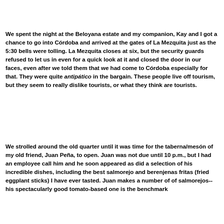We spent the night at the Beloyana estate and my companion, Kay and I got a chance to go into Córdoba and arrived at the gates of La Mezquita just as the 5:30 bells were tolling. La Mezquita closes at six, but the security guards refused to let us in even for a quick look at it and closed the door in our faces, even after we told them that we had come to Córdoba especially for that. They were quite antipático in the bargain. These people live off tourism, but they seem to really dislike tourists, or what they think are tourists.
We strolled around the old quarter until it was time for the taberna/mesón of my old friend, Juan Peña, to open. Juan was not due until 10 p.m., but I had an employee call him and he soon appeared as did a selection of his incredible dishes, including the best salmorejo and berenjenas fritas (fried eggplant sticks) I have ever tasted. Juan makes a number of of salmorejos--his spectacularly good tomato-based one is the benchmark